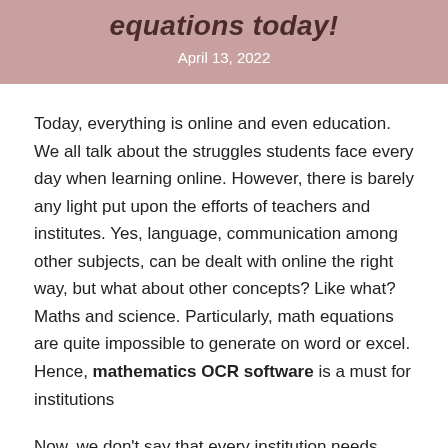equations today!
April 13, 2022
Today, everything is online and even education. We all talk about the struggles students face every day when learning online. However, there is barely any light put upon the efforts of teachers and institutes. Yes, language, communication among other subjects, can be dealt with online the right way, but what about other concepts? Like what? Maths and science. Particularly, math equations are quite impossible to generate on word or excel. Hence, mathematics OCR software is a must for institutions
Now, we don't say that every institution needs OCR software. But the ones who focus their attention on